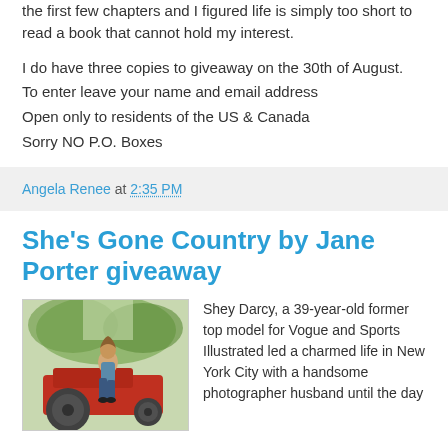the first few chapters and I figured life is simply too short to read a book that cannot hold my interest.
I do have three copies to giveaway on the 30th of August.
To enter leave your name and email address
Open only to residents of the US & Canada
Sorry NO P.O. Boxes
Angela Renee at 2:35 PM
She's Gone Country by Jane Porter giveaway
[Figure (photo): Woman sitting on a red antique tractor outdoors with trees in background]
Shey Darcy, a 39-year-old former top model for Vogue and Sports Illustrated led a charmed life in New York City with a handsome photographer husband until the day